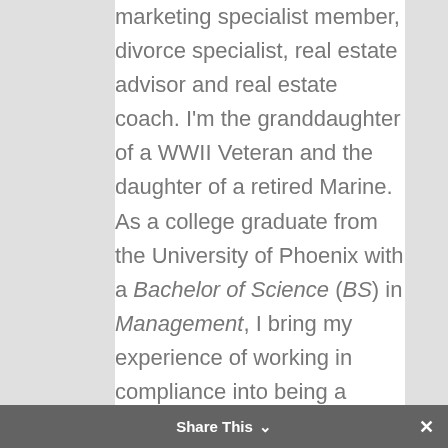marketing specialist member, divorce specialist, real estate advisor and real estate coach. I'm the granddaughter of a WWII Veteran and the daughter of a retired Marine. As a college graduate from the University of Phoenix with a Bachelor of Science (BS) in Management, I bring my experience of working in compliance into being a realtor. I joined real estate to make a difference in the lives of people by se...
Share This ✓  ✕